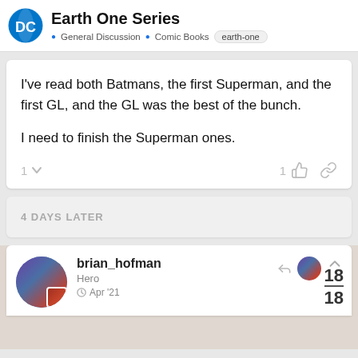Earth One Series · General Discussion · Comic Books · earth-one
I've read both Batmans, the first Superman, and the first GL, and the GL was the best of the bunch.

I need to finish the Superman ones.
4 DAYS LATER
brian_hofman
Hero
Apr '21